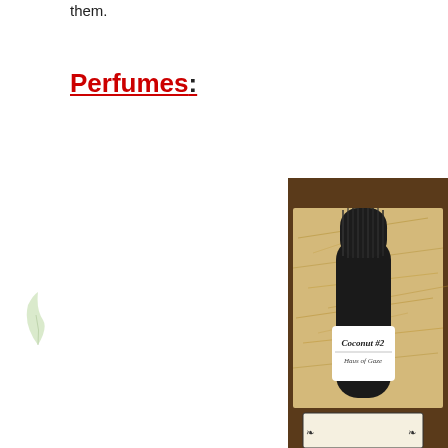them.
Perfumes:
[Figure (photo): A dark glass perfume bottle labeled 'Coconut #2 Haus of Gaze' nestled in straw inside a brown box, with another decorative card partially visible at the bottom.]